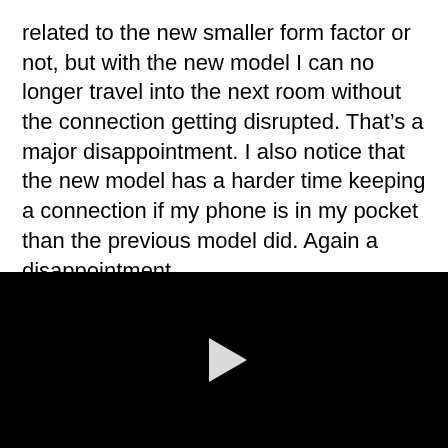related to the new smaller form factor or not, but with the new model I can no longer travel into the next room without the connection getting disrupted. That's a major disappointment. I also notice that the new model has a harder time keeping a connection if my phone is in my pocket than the previous model did. Again a disappointment.
[Figure (other): Black video player area with a white play button triangle in the center]